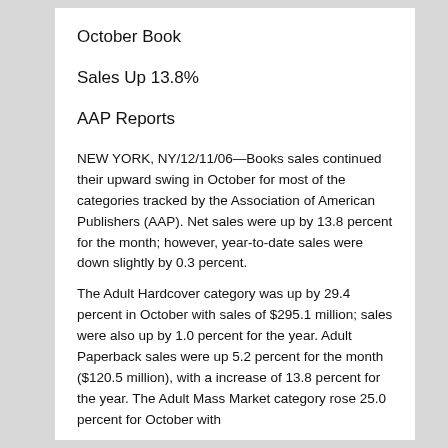October Book
Sales Up 13.8%
AAP Reports
NEW YORK, NY/12/11/06—Books sales continued their upward swing in October for most of the categories tracked by the Association of American Publishers (AAP). Net sales were up by 13.8 percent for the month; however, year-to-date sales were down slightly by 0.3 percent.
The Adult Hardcover category was up by 29.4 percent in October with sales of $295.1 million; sales were also up by 1.0 percent for the year. Adult Paperback sales were up 5.2 percent for the month ($120.5 million), with a increase of 13.8 percent for the year. The Adult Mass Market category rose 25.0 percent for October with